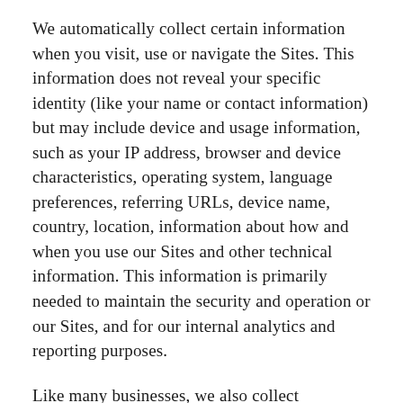We automatically collect certain information when you visit, use or navigate the Sites. This information does not reveal your specific identity (like your name or contact information) but may include device and usage information, such as your IP address, browser and device characteristics, operating system, language preferences, referring URLs, device name, country, location, information about how and when you use our Sites and other technical information. This information is primarily needed to maintain the security and operation or our Sites, and for our internal analytics and reporting purposes.
Like many businesses, we also collect information through cookies and similar technologies.
Information collected from other sources
In Short: We may collect limited data from public databases